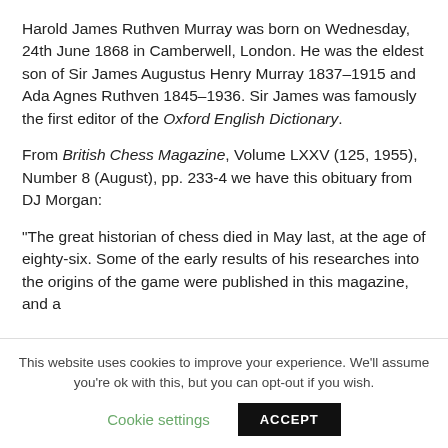Harold James Ruthven Murray was born on Wednesday, 24th June 1868 in Camberwell, London. He was the eldest son of Sir James Augustus Henry Murray 1837–1915 and Ada Agnes Ruthven 1845–1936. Sir James was famously the first editor of the Oxford English Dictionary.
From British Chess Magazine, Volume LXXV (125, 1955), Number 8 (August), pp. 233-4 we have this obituary from DJ Morgan:
“The great historian of chess died in May last, at the age of eighty-six. Some of the early results of his researches into the origins of the game were published in this magazine, and a
This website uses cookies to improve your experience. We'll assume you're ok with this, but you can opt-out if you wish.